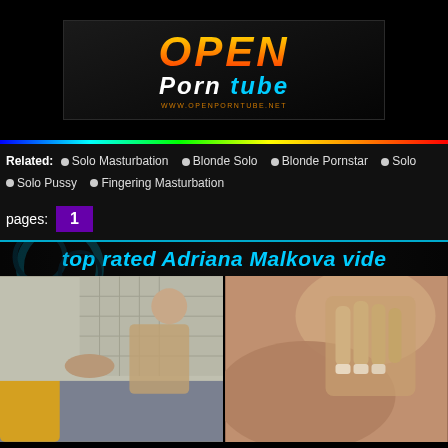[Figure (logo): Open Porn Tube logo with orange/yellow gradient OPEN text and cyan Porn tube text, URL www.openporntube.net]
Related: Solo Masturbation  Blonde Solo  Blonde Pornstar  Solo  Solo Pussy  Fingering Masturbation
pages: 1
top rated Adriana Malkova vide
[Figure (photo): Video thumbnail showing adult content - left panel]
[Figure (photo): Video thumbnail showing adult content - right panel]